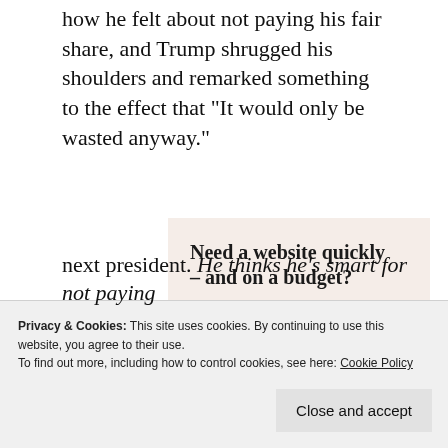how he felt about not paying his fair share, and Trump shrugged his shoulders and remarked something to the effect that “It would only be wasted anyway.”
[Figure (infographic): Advertisement box with beige/cream background. Headline: 'Need a website quickly – and on a budget?' Subtext: 'Let us build it for you'. Button: 'Let's get started'. Circular photo of hands typing on a laptop.]
Privacy & Cookies: This site uses cookies. By continuing to use this website, you agree to their use.
To find out more, including how to control cookies, see here: Cookie Policy
next president. He thinks he’s smart for not paying